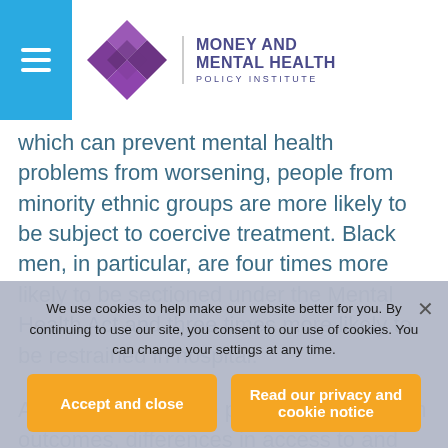Money and Mental Health Policy Institute
which can prevent mental health problems from worsening, people from minority ethnic groups are more likely to be subject to coercive treatment. Black men, in particular, are four times more likely to be sectioned under the Mental Health Act and three times more likely to be restrained in hospital.
As well as leading to poorer mental health outcomes, differences in access to and receipt
We use cookies to help make our website better for you. By continuing to use our site, you consent to our use of cookies. You can change your settings at any time.